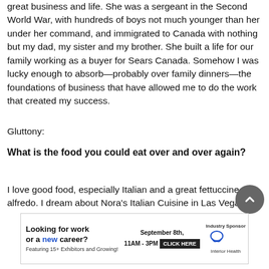great business and life. She was a sergeant in the Second World War, with hundreds of boys not much younger than her under her command, and immigrated to Canada with nothing but my dad, my sister and my brother. She built a life for our family working as a buyer for Sears Canada. Somehow I was lucky enough to absorb—probably over family dinners—the foundations of business that have allowed me to do the work that created my success.
Gluttony:
What is the food you could eat over and over again?
I love good food, especially Italian and a great fettuccine alfredo. I dream about Nora's Italian Cuisine in Las Vegas;
[Figure (infographic): Advertisement banner: 'Looking for work or a new career? Featuring 15+ Exhibitors and Growing! September 8th, 11AM-3PM. CLICK HERE. Industry Sponsor: Interior Health logo.']